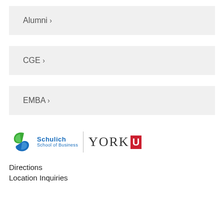Alumni ›
CGE ›
EMBA ›
[Figure (logo): Schulich School of Business | York University logo]
Directions
Location Inquiries